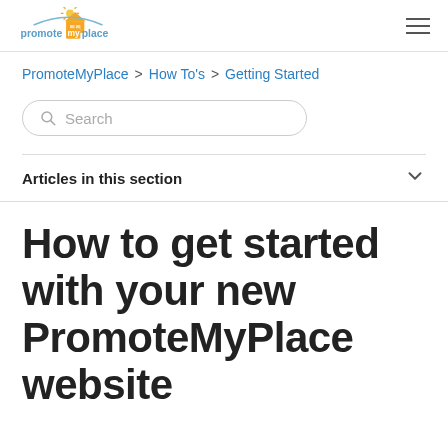PromoteMyPlace logo and hamburger menu
PromoteMyPlace > How To's > Getting Started
Search
Articles in this section
How to get started with your new PromoteMyPlace website